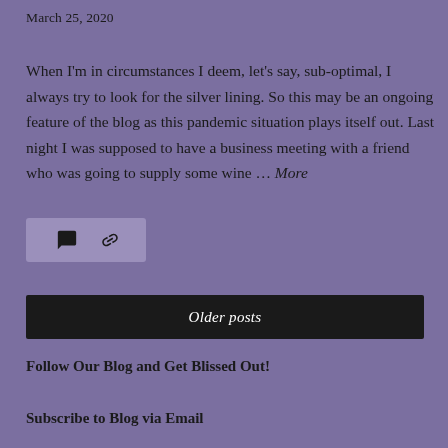March 25, 2020
When I'm in circumstances I deem, let's say, sub-optimal, I always try to look for the silver lining. So this may be an ongoing feature of the blog as this pandemic situation plays itself out. Last night I was supposed to have a business meeting with a friend who was going to supply some wine … More
[Figure (other): Comment and link/share icons on a lighter purple background bar]
Older posts
Follow Our Blog and Get Blissed Out!
Subscribe to Blog via Email